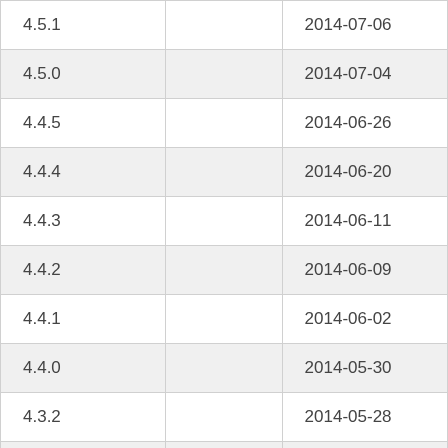| 4.5.1 |  | 2014-07-06 |
| 4.5.0 |  | 2014-07-04 |
| 4.4.5 |  | 2014-06-26 |
| 4.4.4 |  | 2014-06-20 |
| 4.4.3 |  | 2014-06-11 |
| 4.4.2 |  | 2014-06-09 |
| 4.4.1 |  | 2014-06-02 |
| 4.4.0 |  | 2014-05-30 |
| 4.3.2 |  | 2014-05-28 |
|  |  |  |